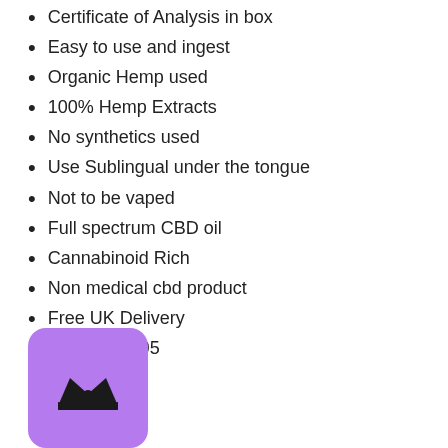Certificate of Analysis in box
Easy to use and ingest
Organic Hemp used
100% Hemp Extracts
No synthetics used
Use Sublingual under the tongue
Not to be vaped
Full spectrum CBD oil
Cannabinoid Rich
Non medical cbd product
Free UK Delivery
Price - £21.95
[Figure (logo): Purple rounded square icon with a crown symbol in black]